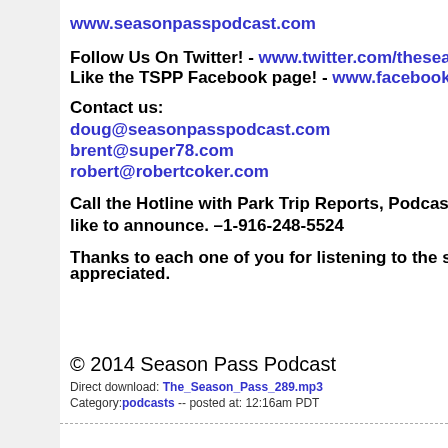www.seasonpasspodcast.com
Follow Us On Twitter! - www.twitter.com/theseason
Like the TSPP Facebook page! - www.facebook.com
Contact us:
doug@seasonpasspodcast.com
brent@super78.com
robert@robertcoker.com
Call the Hotline with Park Trip Reports, Podcast C like to announce. –1-916-248-5524
Thanks to each one of you for listening to the show. appreciated.
© 2014 Season Pass Podcast
Direct download: The_Season_Pass_289.mp3
Category: podcasts -- posted at: 12:16am PDT